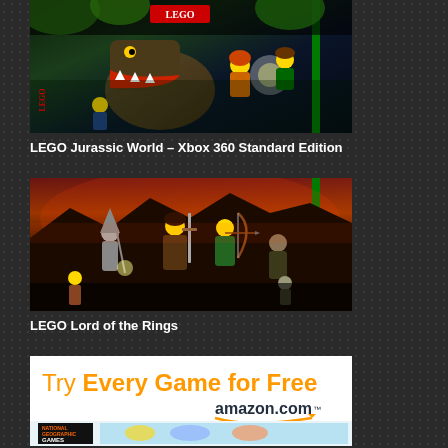[Figure (photo): LEGO Jurassic World game cover art showing LEGO dinosaur and characters on dark jungle background]
LEGO Jurassic World – Xbox 360 Standard Edition
[Figure (photo): LEGO Lord of the Rings game cover art showing LEGO characters from the Fellowship in a dramatic battle scene]
LEGO Lord of the Rings
[Figure (infographic): Amazon.com advertisement banner: 'Try Every Game for Free' with amazon.com logo and game screenshots at bottom]